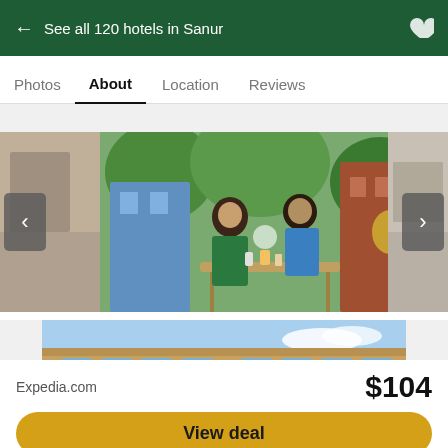← See all 120 hotels in Sanur
Photos  About  Location  Reviews
[Figure (photo): Advertisement with photo carousel showing two people dining outdoors, with navigation arrows on either side]
Your Weekend is Waiting for You
Explore nearby downtowns, craft breweries and scenic vistas this weekend.
Learn More  Sponsored by Cumberland Valley Pennsylvania
[Figure (photo): Partial hotel exterior photo showing roofline and sky]
Expedia.com
$104
View deal